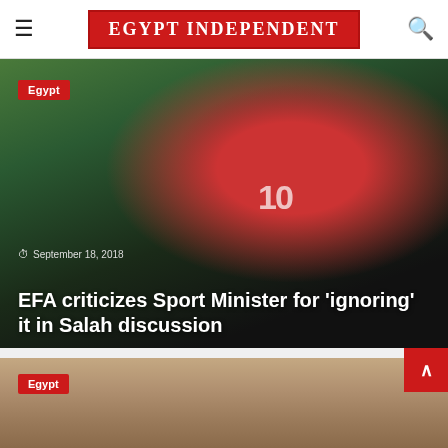EGYPT INDEPENDENT
[Figure (photo): Soccer player wearing Egypt national team jersey number 10 celebrating on field, arms outstretched]
Egypt
September 18, 2018
EFA criticizes Sport Minister for 'ignoring' it in Salah discussion
[Figure (photo): Second article preview image showing a person, partially visible, with curtain-like background]